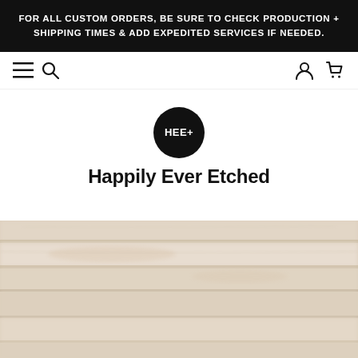FOR ALL CUSTOM ORDERS, BE SURE TO CHECK PRODUCTION + SHIPPING TIMES & ADD EXPEDITED SERVICES IF NEEDED.
[Figure (logo): Navigation bar with hamburger menu, search icon, user icon, and cart icon]
[Figure (logo): Happily Ever Etched logo: black circle with HEE+ text, brand name below]
[Figure (photo): Close-up blurred photo of light-colored wood planks with natural grain texture]